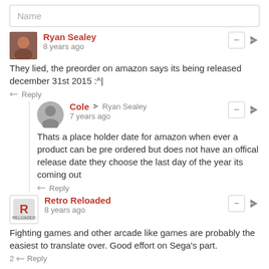Name
Ryan Sealey
8 years ago
They lied, the preorder on amazon says its being released december 31st 2015 :^|
Reply
Cole → Ryan Sealey
7 years ago
Thats a place holder date for amazon when ever a product can be pre ordered but does not have an offical release date they choose the last day of the year its coming out
Reply
Retro Reloaded
8 years ago
Fighting games and other arcade like games are probably the easiest to translate over. Good effort on Sega's part.
2 Reply